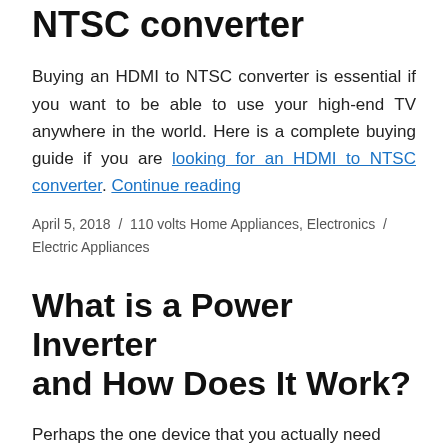NTSC converter
Buying an HDMI to NTSC converter is essential if you want to be able to use your high-end TV anywhere in the world. Here is a complete buying guide if you are looking for an HDMI to NTSC converter. Continue reading
April 5, 2018 / 110 volts Home Appliances, Electronics / Electric Appliances
What is a Power Inverter and How Does It Work?
Perhaps the one device that you actually need